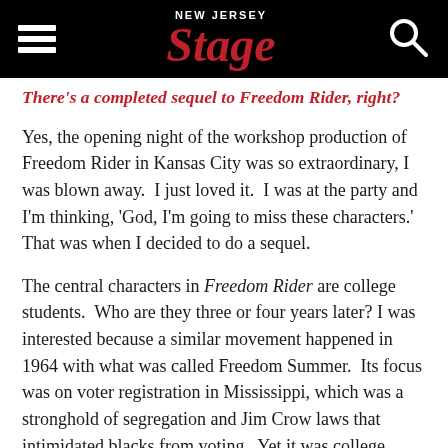NEW JERSEY Stage
There's a completed sequel to Freedom Rider, right?
Yes, the opening night of the workshop production of Freedom Rider in Kansas City was so extraordinary, I was blown away.  I just loved it.  I was at the party and I'm thinking, 'God, I'm going to miss these characters.'  That was when I decided to do a sequel.
The central characters in Freedom Rider are college students.  Who are they three or four years later? I was interested because a similar movement happened in 1964 with what was called Freedom Summer.  Its focus was on voter registration in Mississippi, which was a stronghold of segregation and Jim Crow laws that intimidated blacks from voting.  Yet it was college